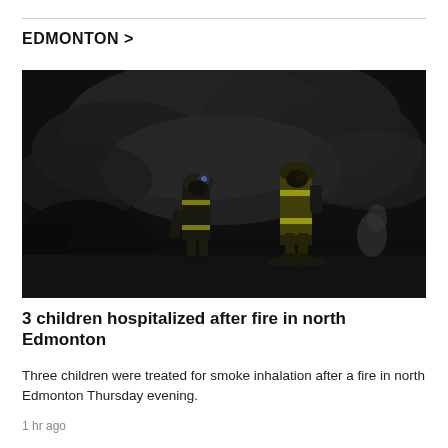EDMONTON >
[Figure (photo): Two firefighters in yellow high-visibility gear walking through heavy smoke at night, illuminated against a dark background]
3 children hospitalized after fire in north Edmonton
Three children were treated for smoke inhalation after a fire in north Edmonton Thursday evening.
1 hr ago